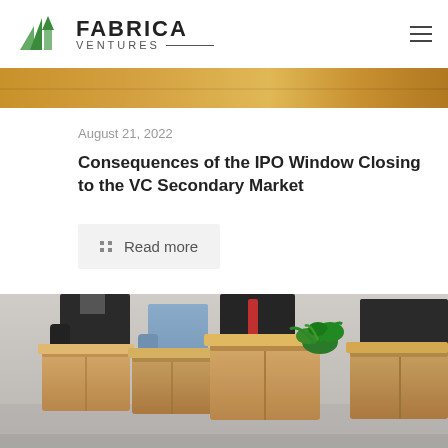Fabrica Ventures
[Figure (photo): Partial view of an orange/golden image banner at top of page (cropped photo header)]
August 21, 2022
Consequences of the IPO Window Closing to the VC Secondary Market
Read more
[Figure (photo): Photo of business people in formal attire carrying cardboard moving boxes, one box contains a green plant. Shot from torso down, multiple people in a line.]